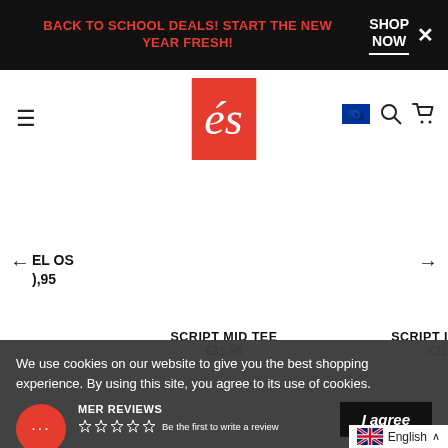BACK TO SCHOOL DEALS! START THE NEW YEAR FRESH!  SHOP NOW
[Figure (logo): es skateboarding brand logo - red rectangle with stylized white cursive 'es' text]
EL OS  ←  →  ),95
SCRIPT MID TEE €31,95
SCRIPT I  €31
We use cookies on our website to give you the best shopping experience. By using this site, you agree to its use of cookies.
MER REVIEWS
I agree
Be the first to write a review
English